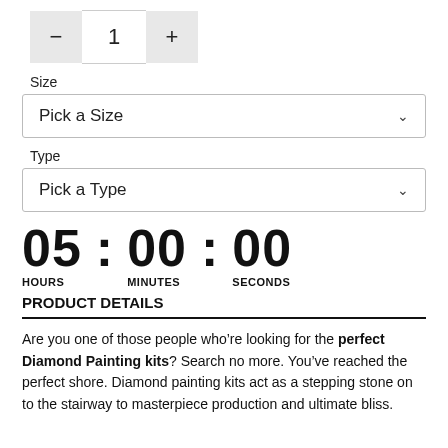[Figure (other): Quantity stepper control with minus button, value 1, and plus button]
Size
[Figure (other): Dropdown selector labeled 'Pick a Size' with chevron arrow]
Type
[Figure (other): Dropdown selector labeled 'Pick a Type' with chevron arrow]
[Figure (other): Countdown timer showing 05 HOURS : 00 MINUTES : 00 SECONDS]
PRODUCT DETAILS
Are you one of those people who’re looking for the perfect Diamond Painting kits? Search no more. You’ve reached the perfect shore. Diamond painting kits act as a stepping stone on to the stairway to masterpiece production and ultimate bliss.